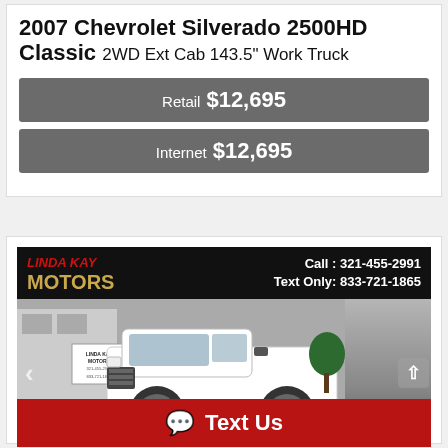2007 Chevrolet Silverado 2500HD Classic 2WD Ext Cab 143.5" Work Truck
Retail $12,695
Internet $12,695
[Figure (photo): Photo of a white 2007 Chevrolet Silverado 2500HD Classic pickup truck at Linda Kay Motors dealership. Banner shows: LINDA KAY MOTORS, Call: 321-455-2991, Text Only: 833-721-1865. Navigation arrows visible. Red 'Text Us' bar at bottom.]